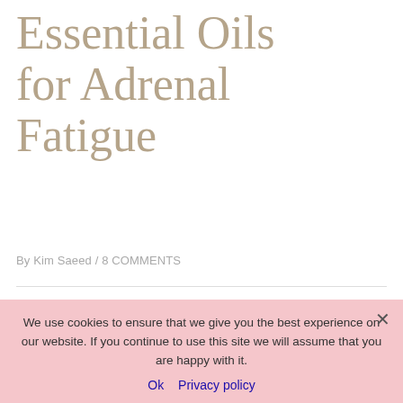Essential Oils for Adrenal Fatigue
By Kim Saeed / 8 COMMENTS
Sharing is caring
9
[Figure (infographic): Three social share buttons: Pinterest (red), Reddit (orange), Messenger (blue)]
We use cookies to ensure that we give you the best experience on our website. If you continue to use this site we will assume that you are happy with it.
Ok  Privacy policy